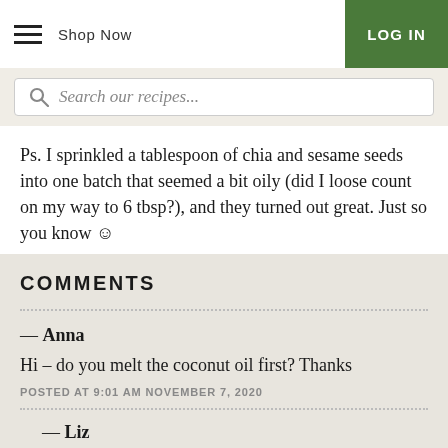Shop Now  |  LOG IN
Search our recipes...
Ps.  I sprinkled a tablespoon of chia and sesame seeds into one batch that seemed a bit oily (did I loose count on my way to 6 tbsp?), and they turned out great.  Just so you know ☺
COMMENTS
— Anna
Hi – do you melt the coconut oil first? Thanks
POSTED AT 9:01 AM NOVEMBER 7, 2020
— Liz
That might be helpful if the room is quite cold and the